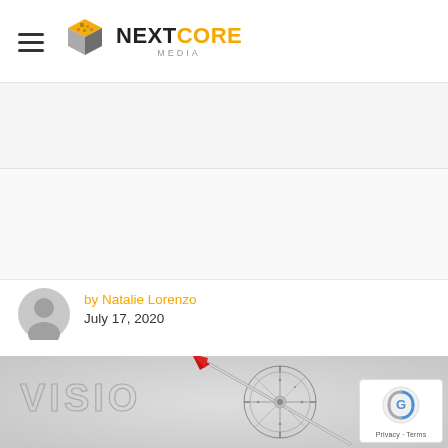NextCore Media
[Figure (photo): Gray advertisement banner area]
[Figure (photo): Secondary advertisement/content banner area]
by Natalie Lorenzo
July 17, 2020
[Figure (photo): Close-up photo of a compass with red arrow pointing to 'VISION' text on a light gray background]